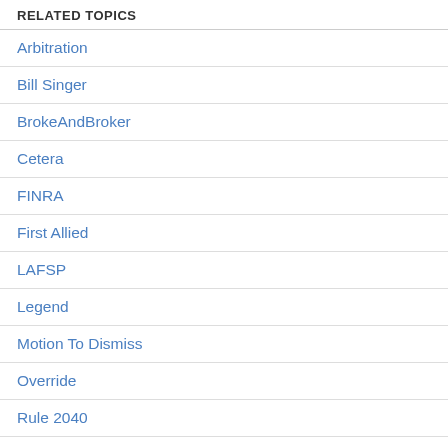RELATED TOPICS
Arbitration
Bill Singer
BrokeAndBroker
Cetera
FINRA
First Allied
LAFSP
Legend
Motion To Dismiss
Override
Rule 2040
SDFL